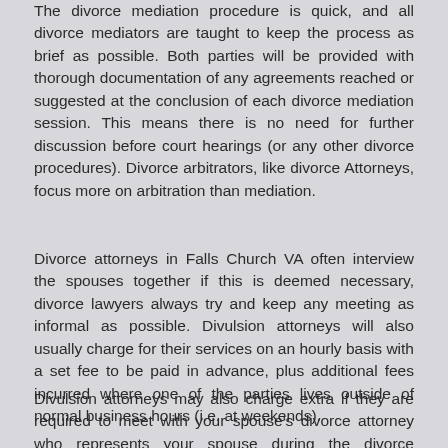The divorce mediation procedure is quick, and all divorce mediators are taught to keep the process as brief as possible. Both parties will be provided with thorough documentation of any agreements reached or suggested at the conclusion of each divorce mediation session. This means there is no need for further discussion before court hearings (or any other divorce procedures). Divorce arbitrators, like divorce Attorneys, focus more on arbitration than mediation.
Divorce attorneys in Falls Church VA often interview the spouses together if this is deemed necessary, divorce lawyers always try and keep any meeting as informal as possible. Divulsion attorneys will also usually charge for their services on an hourly basis with a set fee to be paid in advance, plus additional fees incurred where one of the parties lives outside of normal business hours (i.e. at weekends).
Divulsion attorneys may also charge extra if they are required to meet with your spouse's divorce attorney who represents your spouse during the divorce proceedings.